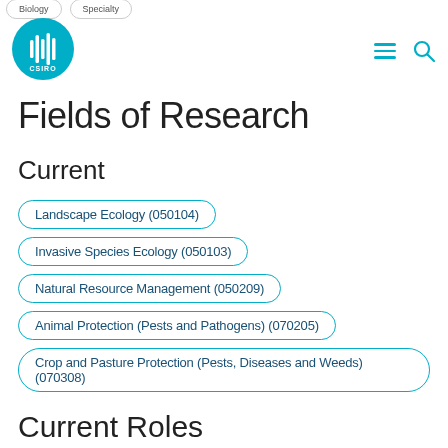[Figure (logo): CSIRO logo — circular teal badge with white soundwave bars and CSIRO text]
Fields of Research
Current
Landscape Ecology (050104)
Invasive Species Ecology (050103)
Natural Resource Management (050209)
Animal Protection (Pests and Pathogens) (070205)
Crop and Pasture Protection (Pests, Diseases and Weeds) (070308)
Current Roles